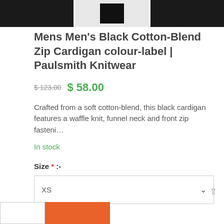[Figure (photo): Three product thumbnail images of a black cardigan: left shows textured fabric closeup, middle shows folded black item on white background, right shows another dark textured view.]
Mens Men's Black Cotton-Blend Zip Cardigan colour-label | Paulsmith Knitwear
$ 123.00  $ 58.00
Crafted from a soft cotton-blend, this black cardigan features a waffle knit, funnel neck and front zip fasteni…
In stock
Size * :-
XS